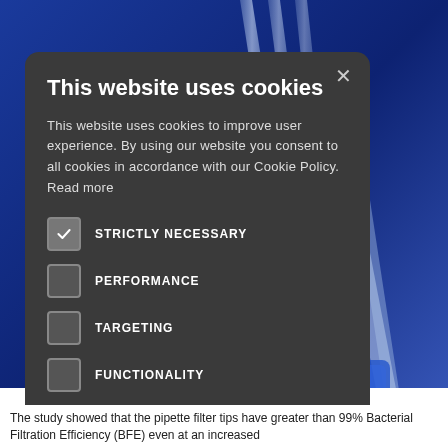[Figure (screenshot): Website cookie consent modal dialog overlaid on a science/medical website background showing pipette filter tips on a blue background. The modal is dark gray with a cookie consent form including checkboxes for STRICTLY NECESSARY (checked), PERFORMANCE, TARGETING, FUNCTIONALITY, and UNCLASSIFIED. Two buttons: ACCEPT ALL (green) and DECLINE ALL (outlined). A SHOW DETAILS link with gear icon at the bottom.]
The study showed that the pipette filter tips have greater than 99% Bacterial Filtration Efficiency (BFE) even at an increased